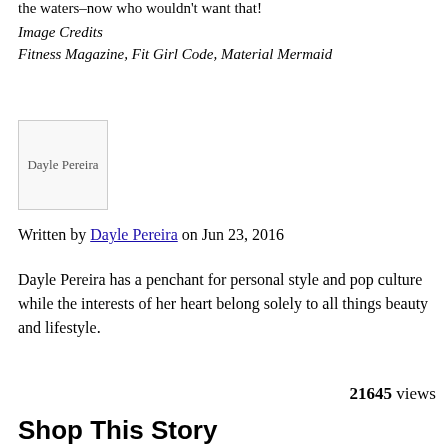the waters–now who wouldn't want that!
Image Credits
Fitness Magazine, Fit Girl Code, Material Mermaid
[Figure (photo): Dayle Pereira author avatar image placeholder]
Written by Dayle Pereira on Jun 23, 2016
Dayle Pereira has a penchant for personal style and pop culture while the interests of her heart belong solely to all things beauty and lifestyle.
21645 views
Shop This Story